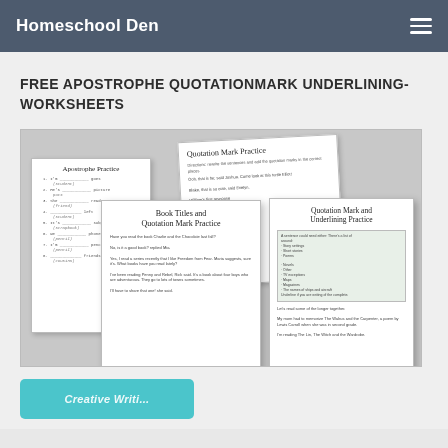Homeschool Den
FREE APOSTROPHE QUOTATIONMARK UNDERLINING- WORKSHEETS
[Figure (illustration): Collection of four worksheet mockups: Apostrophe Practice, Quotation Mark Practice, Book Titles and Quotation Mark Practice, and Quotation Mark and Underlining Practice worksheets arranged overlapping on a grey background]
[Figure (illustration): Partial view of a teal/blue colored worksheet at the bottom of the page, partially cut off]